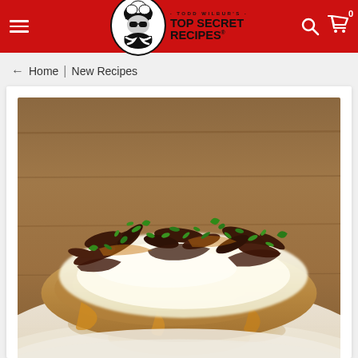Todd Wilbur's Top Secret Recipes - Navigation header with logo, menu, search and cart icons
← Home | New Recipes
[Figure (photo): Close-up food photo of a chicken or fish dish topped with melted white cheese sauce, crispy bacon pieces, and chopped fresh herbs (parsley/chives), served on a white plate with golden sauce, on a wooden table background]